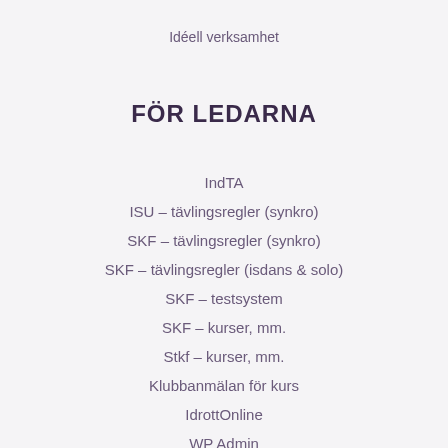Idéell verksamhet
FÖR LEDARNA
IndTA
ISU – tävlingsregler (synkro)
SKF – tävlingsregler (synkro)
SKF – tävlingsregler (isdans & solo)
SKF – testsystem
SKF – kurser, mm.
Stkf – kurser, mm.
Klubbanmälan för kurs
IdrottOnline
WP Admin